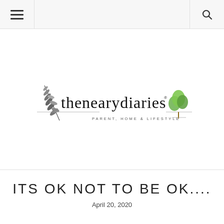Navigation bar with hamburger menu and search icon
[Figure (logo): thenearydiaries logo with decorative botanical illustrations (feather/leaf on left, small tree on right) and tagline PARENT, HOME & LIFESTYLE]
ITS OK NOT TO BE OK....
April 20, 2020